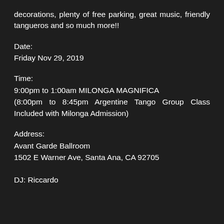decorations, plenty of free parking, great music, friendly tangueros and so much more!!
Date:
Friday Nov 29, 2019
Time:
9:00pm to 1:00am MILONGA MAGNIFICA
(8:00pm to 8:45pm Argentine Tango Group Class Included with Milonga Admission)
Address:
Avant Garde Ballroom
1502 E Warner Ave, Santa Ana, CA 92705
DJ: Riccardo